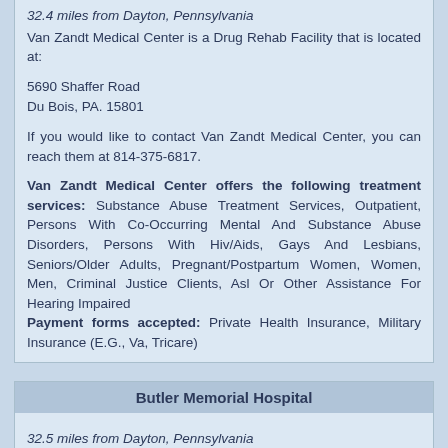32.4 miles from Dayton, Pennsylvania
Van Zandt Medical Center is a Drug Rehab Facility that is located at:
5690 Shaffer Road
Du Bois, PA. 15801
If you would like to contact Van Zandt Medical Center, you can reach them at 814-375-6817.
Van Zandt Medical Center offers the following treatment services: Substance Abuse Treatment Services, Outpatient, Persons With Co-Occurring Mental And Substance Abuse Disorders, Persons With Hiv/Aids, Gays And Lesbians, Seniors/Older Adults, Pregnant/Postpartum Women, Women, Men, Criminal Justice Clients, Asl Or Other Assistance For Hearing Impaired
Payment forms accepted: Private Health Insurance, Military Insurance (E.G., Va, Tricare)
Butler Memorial Hospital
32.5 miles from Dayton, Pennsylvania
Butler Memorial Hospital is a Drug Recovery Facility that is located at: